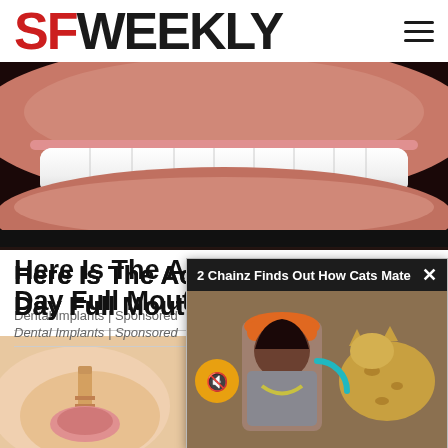SF WEEKLY
[Figure (photo): Close-up macro photo of a man's mouth showing white teeth, pink lips and gums, with stubble/beard visible. Lower half of face only against dark background.]
Here Is The Actual Cost Of One Day Full Mouth Dental Imp
Dental Implants | Sponsored
[Figure (screenshot): Video popup overlay with dark header reading '2 Chainz Finds Out How Cats Mate' with X close button. Content shows rapper 2 Chainz in orange cap and grey shirt with chain necklace, facing a large cat (lynx/bobcat). A teal circular arc loading indicator and orange mute button with speaker icon are visible.]
[Figure (photo): Close-up photo of a dental implant being placed in a gum/jaw, showing implant screw and surrounding tissue.]